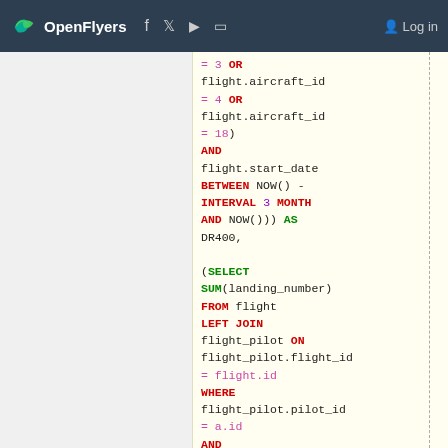OpenFlyers | Log in
= 3 OR flight.aircraft_id = 4 OR flight.aircraft_id = 18) AND flight.start_date BETWEEN NOW() - INTERVAL 3 MONTH AND NOW()) AS DR400, (SELECT SUM(landing_number) FROM flight LEFT JOIN flight_pilot ON flight_pilot.flight_id = flight.id WHERE flight_pilot.pilot_id = a.id AND flight.aircraft_id = 23 AND flight.start_date